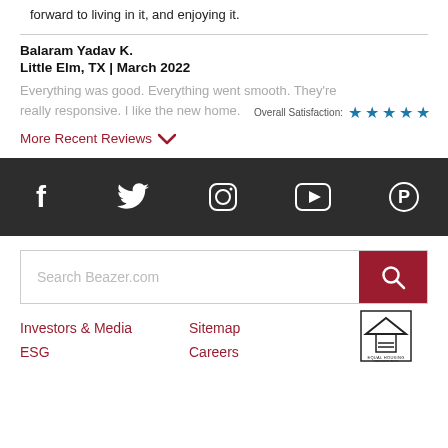forward to living in it, and enjoying it.
Balaram Yadav K.
Little Elm, TX | March 2022
Overall Satisfaction: ★★★★★
Everything was good. Everything went smooth. They're really responsive. I like the new home.
More Recent Reviews
[Figure (infographic): Social media icons bar (dark background): Facebook, Twitter, Instagram, YouTube, Pinterest]
[Figure (infographic): Search box with placeholder 'Search Beazer.com' and red search button]
Investors & Media
Sitemap
ESG
Careers
[Figure (logo): Equal Housing Opportunity logo]